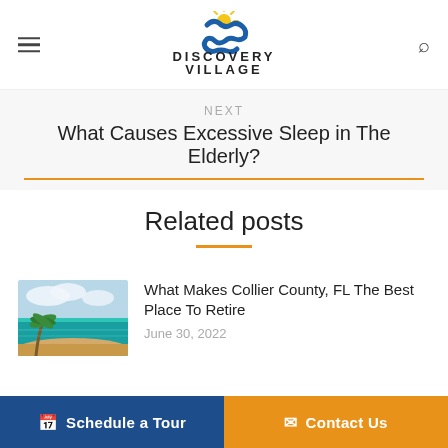Discovery Village By Discovery Senior Living
NEXT
What Causes Excessive Sleep in The Elderly?
Related posts
[Figure (photo): Tropical beach scene with turquoise water, palm trees, and sandy shore]
What Makes Collier County, FL The Best Place To Retire
June 30, 2022
Schedule a Tour   Contact Us